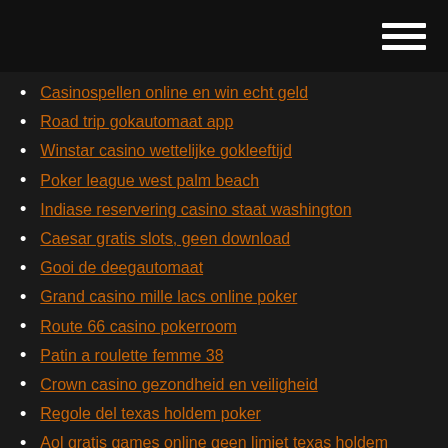Casinospellen online en win echt geld
Road trip gokautomaat app
Winstar casino wettelijke gokleeftijd
Poker league west palm beach
Indiase reservering casino staat washington
Caesar gratis slots, geen download
Gooi de deegautomaat
Grand casino mille lacs online poker
Route 66 casino pokerroom
Patin a roulette femme 38
Crown casino gezondheid en veiligheid
Regole del texas holdem poker
Aol gratis games online geen limiet texas holdem
Indian spirit slot gratis download